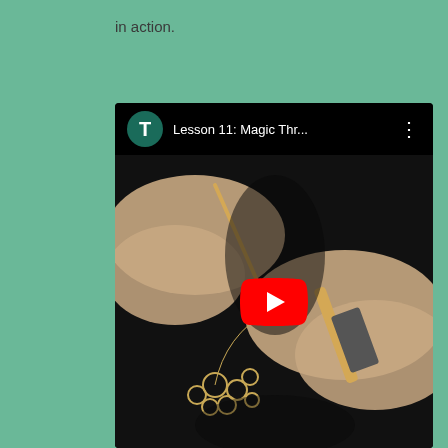in action.
[Figure (screenshot): YouTube video thumbnail showing hands doing tatting/lace craft with a needle and thread. The video is titled 'Lesson 11: Magic Thr...' with a channel avatar showing the letter T. A red YouTube play button is centered on the thumbnail.]